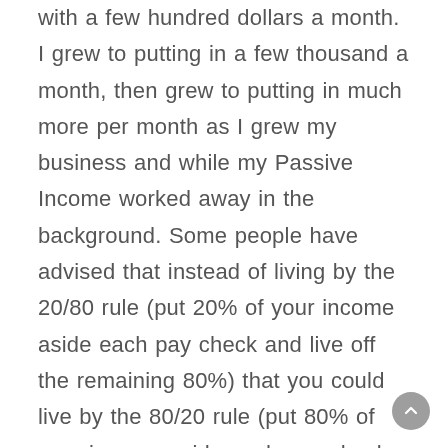with a few hundred dollars a month. I grew to putting in a few thousand a month, then grew to putting in much more per month as I grew my business and while my Passive Income worked away in the background. Some people have advised that instead of living by the 20/80 rule (put 20% of your income aside each pay check and live off the remaining 80%) that you could live by the 80/20 rule (put 80% of your income aside each pay check and live off the remaining 20%.)